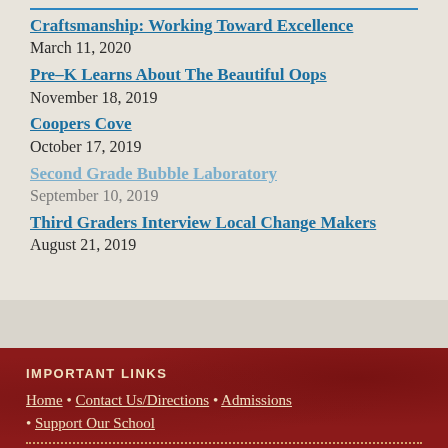Craftsmanship: Working Toward Excellence
March 11, 2020
Pre-K Learns About The Beautiful Oops
February 05, 2020
Coopers Cove
October 17, 2019
Second Grade Bubble Laboratory
September 10, 2019
Third Graders Interview Local Change Makers
August 21, 2019
IMPORTANT LINKS
Home • Contact Us/Directions • Admissions • Support Our School